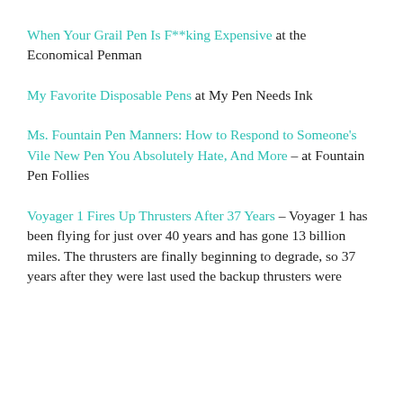When Your Grail Pen Is F**king Expensive at the Economical Penman
My Favorite Disposable Pens at My Pen Needs Ink
Ms. Fountain Pen Manners: How to Respond to Someone's Vile New Pen You Absolutely Hate, And More – at Fountain Pen Follies
Voyager 1 Fires Up Thrusters After 37 Years – Voyager 1 has been flying for just over 40 years and has gone 13 billion miles. The thrusters are finally beginning to degrade, so 37 years after they were last used the backup thrusters were